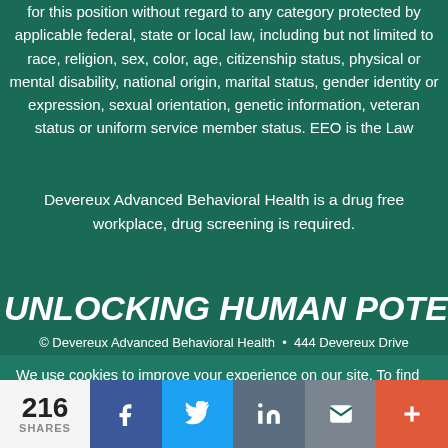for this position without regard to any category protected by applicable federal, state or local law, including but not limited to race, religion, sex, color, age, citizenship status, physical or mental disability, national origin, marital status, gender identity or expression, sexual orientation, genetic information, veteran status or uniform service member status. EEO is the Law
Devereux Advanced Behavioral Health is a drug free workplace, drug screening is required.
UNLOCKING HUMAN POTENTIAL™
© Devereux Advanced Behavioral Health • 444 Devereux Drive
We use cookies to improve your experience on our site. To find out more, read our privacy policy.
216 SHARES